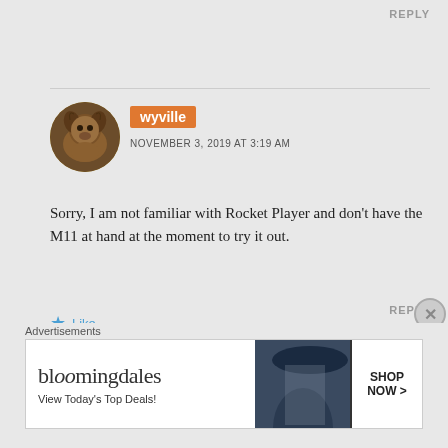REPLY
[Figure (photo): Circular avatar photo of a dog]
wyville
NOVEMBER 3, 2019 AT 3:19 AM
Sorry, I am not familiar with Rocket Player and don't have the M11 at hand at the moment to try it out.
Like
REPLY
Advertisements
[Figure (screenshot): Bloomingdales advertisement banner: 'View Today's Top Deals!' with SHOP NOW > button]